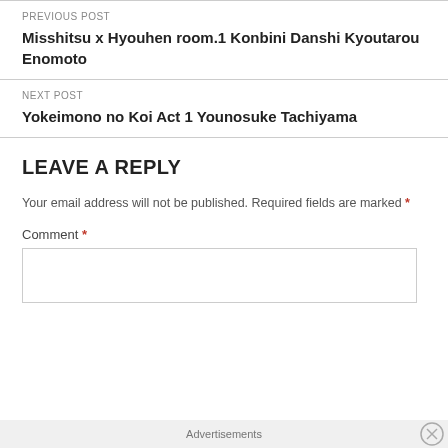PREVIOUS POST
Misshitsu x Hyouhen room.1 Konbini Danshi Kyoutarou Enomoto
NEXT POST
Yokeimono no Koi Act 1 Younosuke Tachiyama
LEAVE A REPLY
Your email address will not be published. Required fields are marked *
Comment *
Advertisements